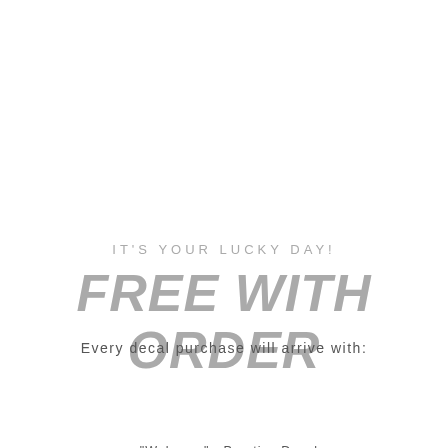IT'S YOUR LUCKY DAY!
FREE WITH ORDER
Every decal purchase will arrive with:
[Figure (other): Black rounded pill-shaped menu bar with hamburger icon and MENU text, plus a circular chat bubble icon on the right]
"Welcome" - Practice Decal